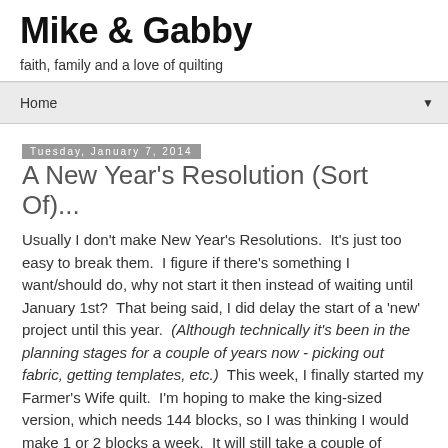Mike & Gabby
faith, family and a love of quilting
Home ▼
Tuesday, January 7, 2014
A New Year's Resolution (Sort Of)...
Usually I don't make New Year's Resolutions.  It's just too easy to break them.  I figure if there's something I want/should do, why not start it then instead of waiting until January 1st?  That being said, I did delay the start of a 'new' project until this year.  (Although technically it's been in the planning stages for a couple of years now - picking out fabric, getting templates, etc.)  This week, I finally started my Farmer's Wife quilt.  I'm hoping to make the king-sized version, which needs 144 blocks, so I was thinking I would make 1 or 2 blocks a week.  It will still take a couple of years,